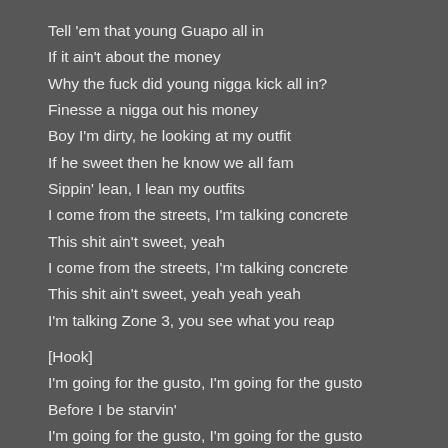Tell 'em that young Guapo all in
If it ain't about the money
Why the fuck did young nigga kick all in?
Finesse a nigga out his money
Boy I'm dirty, he looking at my outfit
If he sweet then he know we all fam
Sippin' lean, I lean my outfits
I come from the streets, I'm talking concrete
This shit ain't sweet, yeah
I come from the streets, I'm talking concrete
This shit ain't sweet, yeah yeah yeah
I'm talking Zone 3, you see what you reap
[Hook]
I'm going for the gusto, I'm going for the gusto
Before I be starvin'
I'm going for the gusto, I'm going for the gusto
Before I be starvin'
I'm going for the gusto, said I'm going for the gusto
Before I be starvin'